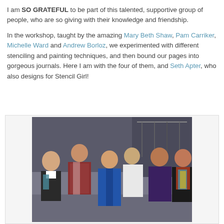I am SO GRATEFUL to be part of this talented, supportive group of people, who are so giving with their knowledge and friendship.

In the workshop, taught by the amazing Mary Beth Shaw, Pam Carriker, Michelle Ward and Andrew Borloz, we experimented with different stenciling and painting techniques, and then bound our pages into gorgeous journals. Here I am with the four of them, and Seth Apter, who also designs for Stencil Girl!
[Figure (photo): Group photo of six people posing together indoors, smiling. One person wears a bright blue cardigan in the center, others in casual clothing. Background shows a clothing rack.]